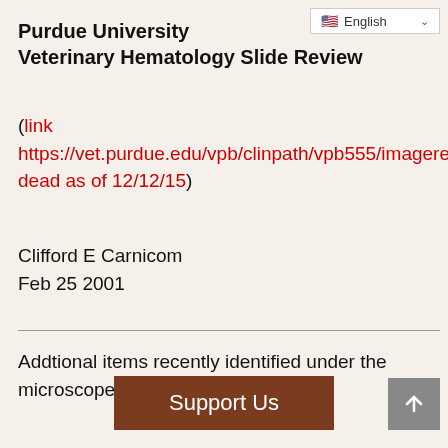English (language selector)
Purdue University
Veterinary Hematology Slide Review
(link https://vet.purdue.edu/vpb/clinpath/vpb555/imagerev... dead as of 12/12/15)
Clifford E Carnicom
Feb 25 2001
Addtional items recently identified under the microscope include: